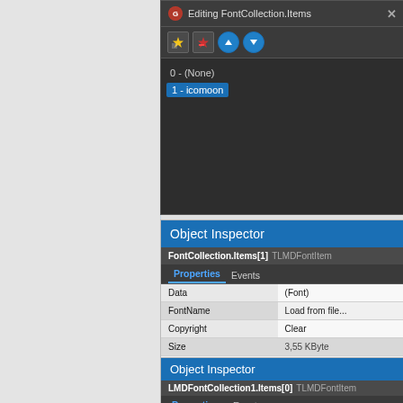[Figure (screenshot): Editing FontCollection.Items dialog with list showing '0 - (None)' and '1 - icomoon' selected in blue, with toolbar buttons]
[Figure (screenshot): Object Inspector panel showing FontCollection.Items[1] TLMDFontItem with Properties tab active, showing Data (Font), FontName (Load from file...), Copyright (Clear), Size (3,55 KByte) rows]
[Figure (screenshot): Object Inspector panel showing LMDFontCollection1.Items[0] TLMDFontItem with Properties and Events tabs visible]